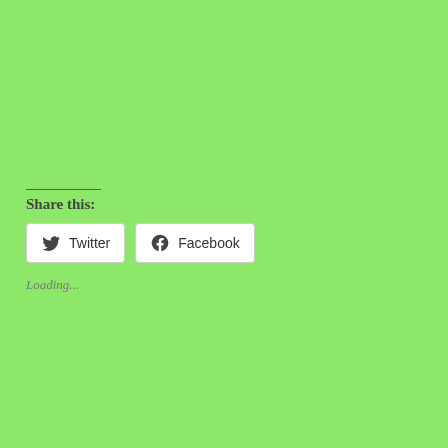Share this:
[Figure (other): Twitter and Facebook share buttons with icons]
Loading...